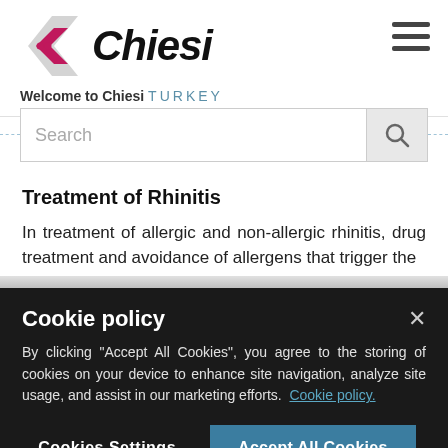[Figure (logo): Chiesi company logo with arrow icon and italic bold text 'Chiesi']
Welcome to Chiesi TURKEY
[Figure (screenshot): Search bar with placeholder text 'Search' and magnifying glass icon]
Treatment of Rhinitis
In treatment of allergic and non-allergic rhinitis, drug treatment and avoidance of allergens that trigger the
Cookie policy

By clicking "Accept All Cookies", you agree to the storing of cookies on your device to enhance site navigation, analyze site usage, and assist in our marketing efforts. Cookie policy.

Cookies Settings    Accept All Cookies